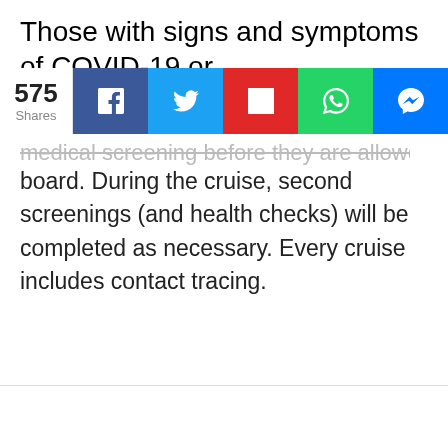Those with signs and symptoms of COVID-19 or
[Figure (infographic): Social share bar showing 575 shares with buttons for Facebook, Twitter, Flipboard, WhatsApp, and Messenger]
medical screening before they are allowed to board. During the cruise, second screenings (and health checks) will be completed as necessary. Every cruise includes contact tracing.